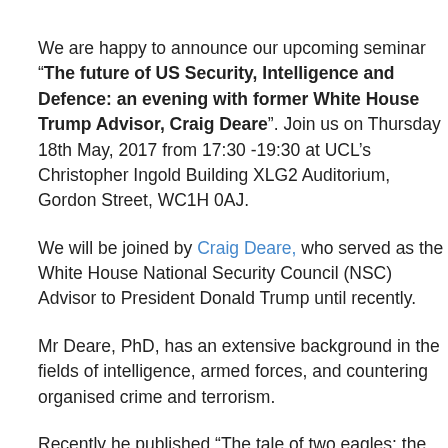We are happy to announce our upcoming seminar “The future of US Security, Intelligence and Defence: an evening with former White House Trump Advisor, Craig Deare”. Join us on Thursday 18th May, 2017 from 17:30 -19:30 at UCL’s Christopher Ingold Building XLG2 Auditorium, Gordon Street, WC1H 0AJ.
We will be joined by Craig Deare, who served as the White House National Security Council (NSC) Advisor to President Donald Trump until recently.
Mr Deare, PhD, has an extensive background in the fields of intelligence, armed forces, and countering organised crime and terrorism.
Recently he published “The tale of two eagles: the U.S. -